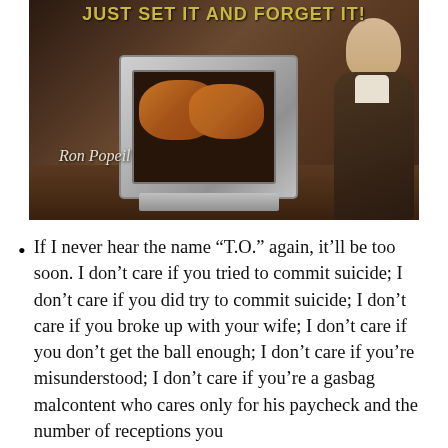[Figure (photo): Ron Popeil promotional photo with rotisserie oven, text 'JUST SET IT AND FORGET IT!' at top in yellow-green, his signature 'Ron Popeil' in white italic at bottom left of image]
If I never hear the name “T.O.” again, it’ll be too soon. I don’t care if you tried to commit suicide; I don’t care if you did try to commit suicide; I don’t care if you broke up with your wife; I don’t care if you don’t get the ball enough; I don’t care if you’re misunderstood; I don’t care if you’re a gasbag malcontent who cares only for his paycheck and the number of receptions you